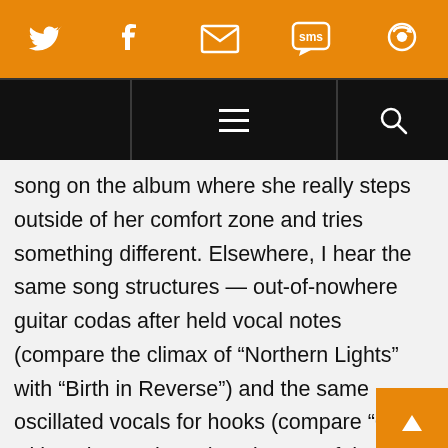[Social share bar: Twitter, Facebook, Email, SMS, Share icons]
[Figure (screenshot): Navigation bar with hamburger menu icon (three lines) in center and search icon on right, black background]
song on the album where she really steps outside of her comfort zone and tries something different. Elsewhere, I hear the same song structures — out-of-nowhere guitar codas after held vocal notes (compare the climax of “Northern Lights” with “Birth in Reverse”) and the same oscillated vocals for hooks (compare “Cruel” with “Prince Johnny”) and some of the same rhythm problems she’s consistently faced throughout her career but seems to have no intention of fixing soon. Ie, “Psychopath”. You’d think collaborating with and